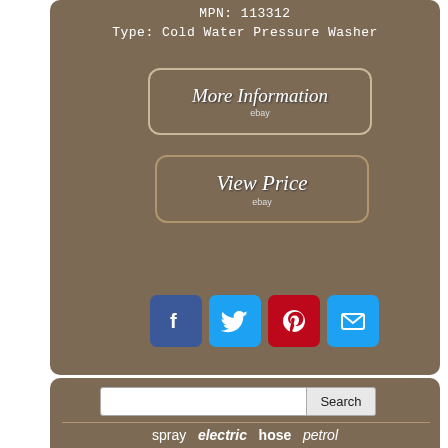MPN: 113312
Type: Cold Water Pressure Washer
[Figure (other): More Information button with eBay branding]
[Figure (other): View Price button with eBay branding]
[Figure (other): Social sharing buttons: Facebook, Twitter, Pinterest, Email]
[Figure (other): Search bar with text input and Search button]
spray   electric   hose   petrol
wash   wolf   pump   portable